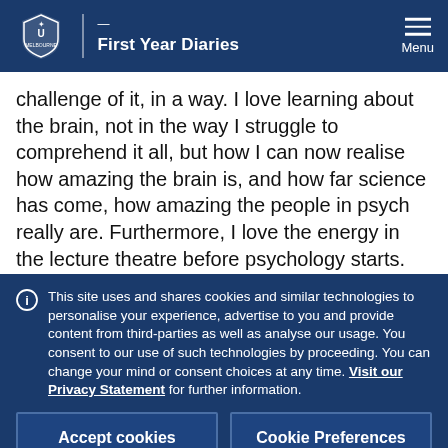First Year Diaries
challenge of it, in a way. I love learning about the brain, not in the way I struggle to comprehend it all, but how I can now realise how amazing the brain is, and how far science has come, how amazing the people in psych really are. Furthermore, I love the energy in the lecture theatre before psychology starts. It's not a reason to continue a
This site uses and shares cookies and similar technologies to personalise your experience, advertise to you and provide content from third-parties as well as analyse our usage. You consent to our use of such technologies by proceeding. You can change your mind or consent choices at any time. Visit our Privacy Statement for further information.
Accept cookies
Cookie Preferences